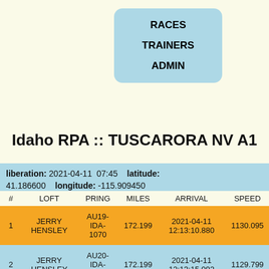RACES
TRAINERS
ADMIN
Idaho RPA :: TUSCARORA NV A1
liberation: 2021-04-11 07:45   latitude: 41.186600   longitude: -115.909450
| # | LOFT | PRING | MILES | ARRIVAL | SPEED |
| --- | --- | --- | --- | --- | --- |
| 1 | JERRY HENSLEY | AU19-IDA-1070 | 172.199 | 2021-04-11 12:13:10.880 | 1130.095 |
| 2 | JERRY HENSLEY | AU20-IDA-0533 | 172.199 | 2021-04-11 12:13:15.092 | 1129.799 |